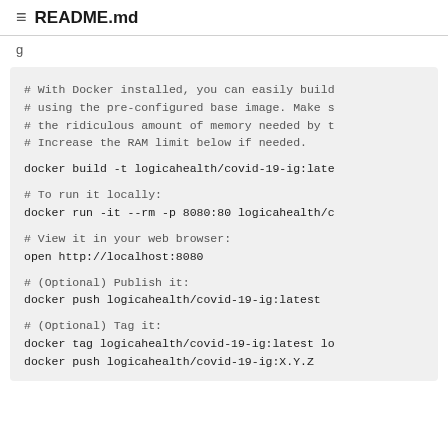README.md
g
# With Docker installed, you can easily build
# using the pre-configured base image. Make s
# the ridiculous amount of memory needed by t
# Increase the RAM limit below if needed.

docker build -t logicahealth/covid-19-ig:late

# To run it locally:
docker run -it --rm -p 8080:80 logicahealth/c

# View it in your web browser:
open http://localhost:8080

# (Optional) Publish it:
docker push logicahealth/covid-19-ig:latest

# (Optional) Tag it:
docker tag logicahealth/covid-19-ig:latest lo
docker push logicahealth/covid-19-ig:X.Y.Z